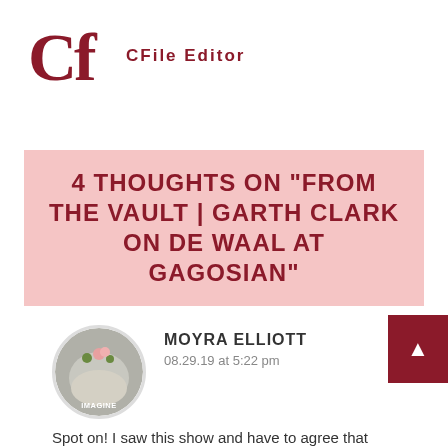[Figure (logo): CFile logo: large stylized 'Cf' letters in dark red/maroon]
CFile Editor
4 THOUGHTS ON "FROM THE VAULT | GARTH CLARK ON DE WAAL AT GAGOSIAN"
[Figure (photo): Circular avatar photo of Moyra Elliott showing a ceramic piece with 'IMAGINE' text, flowers on top]
MOYRA ELLIOTT
08.29.19 at 5:22 pm
Spot on! I saw this show and have to agree that individual pots can be indifferent. I have